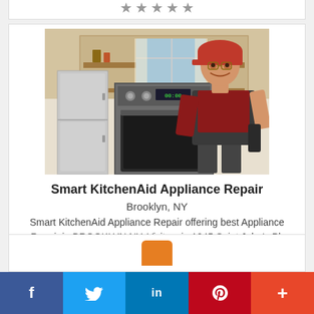[Figure (photo): Stars rating row at top of page (partial card)]
[Figure (photo): Photo of appliance repair technician in red cap and overalls working with kitchen appliances (oven, refrigerator) in a kitchen setting]
Smart KitchenAid Appliance Repair
Brooklyn, NY
Smart KitchenAid Appliance Repair offering best Appliance Repair in BROOKLYN NY. Visit us in 1045 Saint John's Pl, A6, BROOKLYN NY 11213
[Figure (other): Five star rating row (grey stars)]
[Figure (photo): Partial bottom card with orange shape visible]
f  🐦  in  P  +